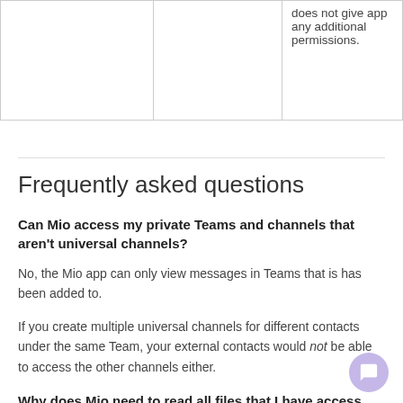|  |  | does not give app any additional permissions. |
Frequently asked questions
Can Mio access my private Teams and channels that aren't universal channels?
No, the Mio app can only view messages in Teams that is has been added to.
If you create multiple universal channels for different contacts under the same Team, your external contacts would not be able to access the other channels either.
Why does Mio need to read all files that I have access to?